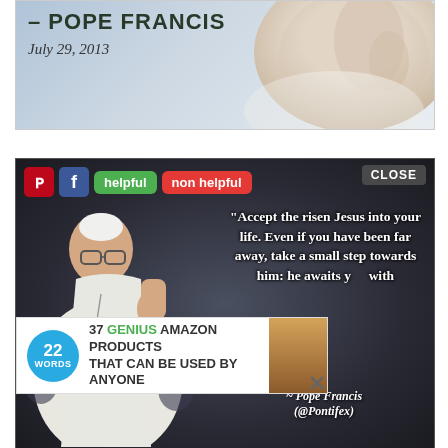[Figure (photo): Top banner showing partial text '- POPE FRANCIS' and 'July 29, 2013' with a background showing a hand raised in blessing, white robes visible, light blue-grey tones.]
[Figure (photo): Quote image of Pope Francis in white papal robes waving to crowd, with overlaid text: "Accept the risen Jesus into your life. Even if you have been far away, take a small step towards him: he awaits you with" and attribution '~ Pope Francis (@Pontifex)'. Social media buttons (Pinterest, Facebook, helpful, non helpful) visible at top. An advertisement overlay shows '37 GENIUS AMAZON PRODUCTS THAT CAN BE USED BY ANYONE' with a 22 Words logo and CLOSE button.]